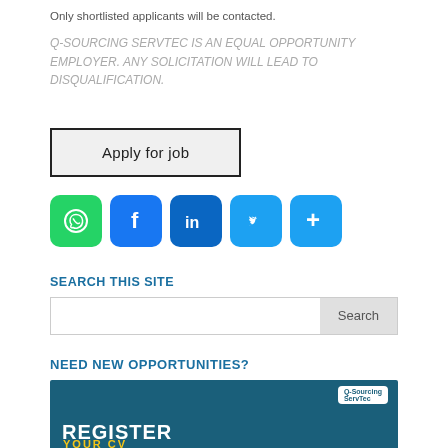Only shortlisted applicants will be contacted.
Q-SOURCING SERVTEC IS AN EQUAL OPPORTUNITY EMPLOYER. ANY SOLICITATION WILL LEAD TO DISQUALIFICATION.
Apply for job
[Figure (infographic): Social media share icons: WhatsApp (green), Facebook (blue), LinkedIn (blue), Twitter (light blue), More/Plus (light blue)]
SEARCH THIS SITE
Search
NEED NEW OPPORTUNITIES?
[Figure (illustration): Q-Sourcing Servtec banner with teal background showing REGISTER YOUR CV text in white and yellow]